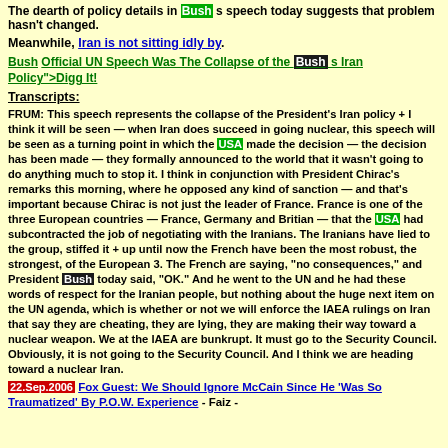The dearth of policy details in Bush's speech today suggests that problem hasn't changed.
Meanwhile, Iran is not sitting idly by.
Bush Official UN Speech Was The Collapse of the Bush s Iran Policy">Digg It!
Transcripts:
FRUM: This speech represents the collapse of the President's Iran policy + I think it will be seen — when Iran does succeed in going nuclear, this speech will be seen as a turning point in which the USA made the decision — the decision has been made — they formally announced to the world that it wasn't going to do anything much to stop it. I think in conjunction with President Chirac's remarks this morning, where he opposed any kind of sanction — and that's important because Chirac is not just the leader of France. France is one of the three European countries — France, Germany and Britian — that the USA had subcontracted the job of negotiating with the Iranians. The Iranians have lied to the group, stiffed it + up until now the French have been the most robust, the strongest, of the European 3. The French are saying, "no consequences," and President Bush today said, "OK." And he went to the UN and he had these words of respect for the Iranian people, but nothing about the huge next item on the UN agenda, which is whether or not we will enforce the IAEA rulings on Iran that say they are cheating, they are lying, they are making their way toward a nuclear weapon. We at the IAEA are bunkrupt. It must go to the Security Council. Obviously, it is not going to the Security Council. And I think we are heading toward a nuclear Iran.
22.Sep.2006 Fox Guest: We Should Ignore McCain Since He 'Was So Traumatized' By P.O.W. Experience - Faiz -